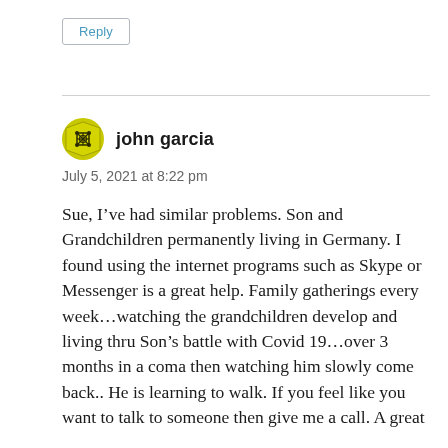Reply
john garcia
July 5, 2021 at 8:22 pm
Sue, I’ve had similar problems. Son and Grandchildren permanently living in Germany. I found using the internet programs such as Skype or Messenger is a great help. Family gatherings every week…watching the grandchildren develop and living thru Son’s battle with Covid 19…over 3 months in a coma then watching him slowly come back.. He is learning to walk. If you feel like you want to talk to someone then give me a call. A great